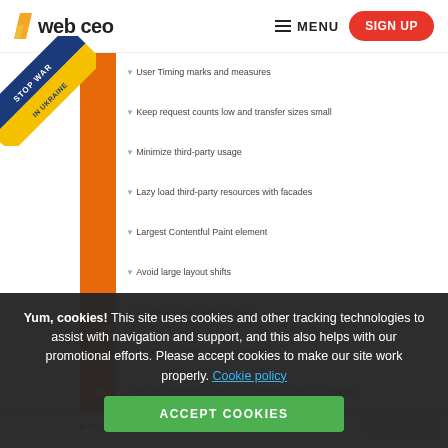web ceo  MENU  SIGN UP
[Figure (illustration): Stop War In Ukraine diagonal ribbon banner on top-left corner]
User Timing marks and measures
Keep request counts low and transfer sizes small
Minimize third-party usage
Lazy load third-party resources with facades
Largest Contentful Paint element
Avoid large layout shifts
Avoid long main-thread tasks
Avoid non-composited animations
Image elements do not have explicit 'width' and 'height'
Passed rules  EXPAND ACTIONS
HOW TO INCR... ...E SPEED?
Yum, cookies! This site uses cookies and other tracking technologies to assist with navigation and support, and this also helps with our promotional efforts. Please accept cookies to make our site work properly. Cookie policy  ACCEPT COOKIES